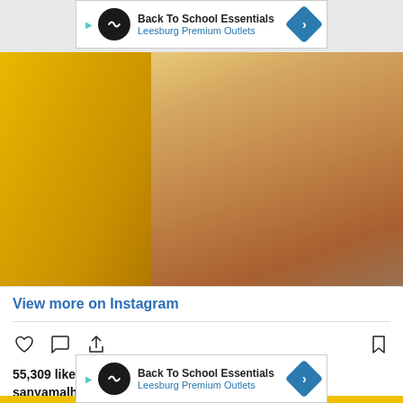[Figure (screenshot): Ad banner for Back To School Essentials - Leesburg Premium Outlets at top]
[Figure (photo): Close-up photo of person in yellow outfit, showing back/shoulder area]
View more on Instagram
55,309 likes
sanyamalhotra_
🎵 @mayank0491
view all 296 comments
Add a comment...
[Figure (screenshot): Ad banner for Back To School Essentials - Leesburg Premium Outlets at bottom]